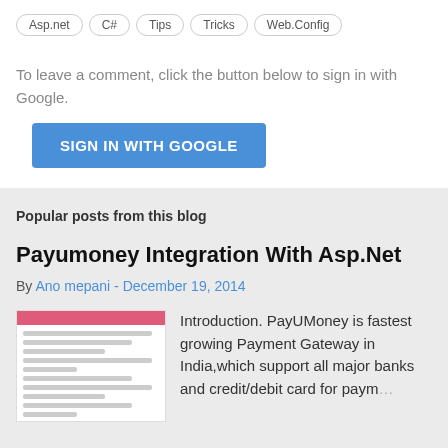Asp.net  C#  Tips  Tricks  Web.Config
To leave a comment, click the button below to sign in with Google.
[Figure (other): SIGN IN WITH GOOGLE button]
Popular posts from this blog
Payumoney Integration With Asp.Net
By Ano mepani - December 19, 2014
[Figure (screenshot): Thumbnail screenshot of Payumoney integration page]
Introduction. PayUMoney is fastest growing Payment Gateway in India,which support all major banks and credit/debit card for paym…